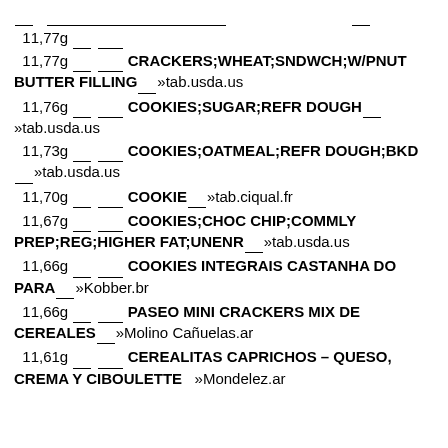__11,77g __ _____
__11,77g __ _____ CRACKERS;WHEAT;SNDWCH;W/PNUT BUTTER FILLING___»tab.usda.us
__11,76g __ _____ COOKIES;SUGAR;REFR DOUGH___»tab.usda.us
__11,73g __ _____ COOKIES;OATMEAL;REFR DOUGH;BKD___»tab.usda.us
__11,70g __ _____ COOKIE___»tab.ciqual.fr
__11,67g __ _____ COOKIES;CHOC CHIP;COMMLY PREP;REG;HIGHER FAT;UNENR___»tab.usda.us
__11,66g __ _____ COOKIES INTEGRAIS CASTANHA DO PARA___»Kobber.br
__11,66g __ _____ PASEO MINI CRACKERS MIX DE CEREALES___»Molino Cañuelas.ar
__11,61g __ _____ CEREALITAS CAPRICHOS – QUESO, CREMA Y CIBOULETTE   »Mondelez.ar